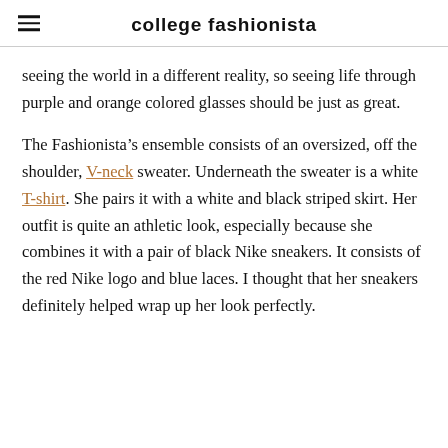college fashionista
seeing the world in a different reality, so seeing life through purple and orange colored glasses should be just as great.
The Fashionista’s ensemble consists of an oversized, off the shoulder, V-neck sweater. Underneath the sweater is a white T-shirt. She pairs it with a white and black striped skirt. Her outfit is quite an athletic look, especially because she combines it with a pair of black Nike sneakers. It consists of the red Nike logo and blue laces. I thought that her sneakers definitely helped wrap up her look perfectly.